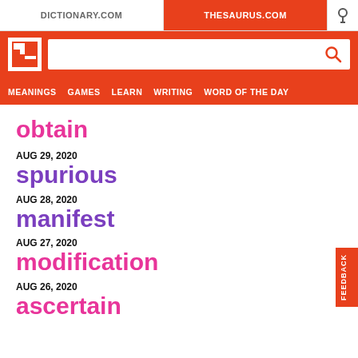DICTIONARY.COM | THESAURUS.COM
obtain
AUG 29, 2020
spurious
AUG 28, 2020
manifest
AUG 27, 2020
modification
AUG 26, 2020
ascertain